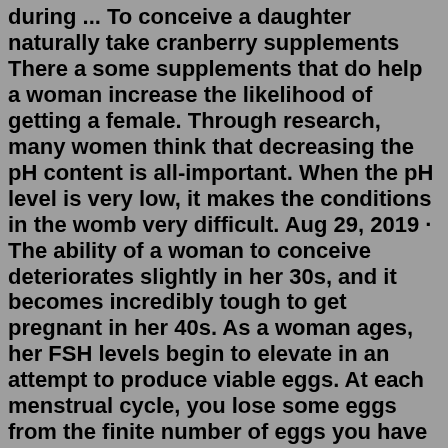during ... To conceive a daughter naturally take cranberry supplements There a some supplements that do help a woman increase the likelihood of getting a female. Through research, many women think that decreasing the pH content is all-important. When the pH level is very low, it makes the conditions in the womb very difficult. Aug 29, 2019 · The ability of a woman to conceive deteriorates slightly in her 30s, and it becomes incredibly tough to get pregnant in her 40s. As a woman ages, her FSH levels begin to elevate in an attempt to produce viable eggs. At each menstrual cycle, you lose some eggs from the finite number of eggs you have in your body. The changes in the pH environment within is now thought to affect baby's gender. Experts say that alkaline in the follicular fluid will favour Y sperm (conceive a boy) while acidic in the follicular fluid gives preference to the X sperm (conceive a girl). To conceive a girl you should:Oct 29, 2012 · * If a woman's PH level is predisposed to be highly acidic, she is more likely to have a girl. ... The method helped her to conceive a